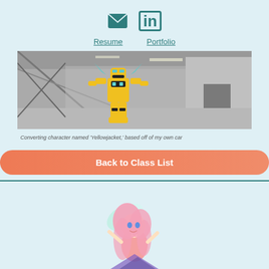[Figure (illustration): Email envelope icon and LinkedIn 'in' icon in teal/dark teal color]
Resume   Portfolio
[Figure (illustration): A yellow and black robot character named 'Yellowjacket' standing in a gray industrial warehouse 3D rendered scene]
Converting character named 'Yellowjacket,' based off of my own car
Back to Class List
[Figure (illustration): Anime-style fairy/fantasy girl character with pink hair and butterfly wings at bottom of page]